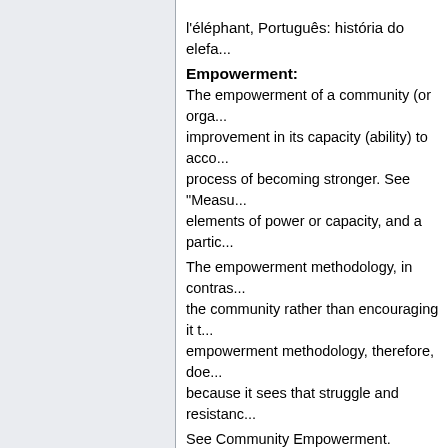l'éléphant, Português: história do elefa...
Empowerment:
The empowerment of a community (or orga... improvement in its capacity (ability) to acco... process of becoming stronger. See "Measu... elements of power or capacity, and a partic...
The empowerment methodology, in contras... the community rather than encouraging it t... empowerment methodology, therefore, doe... because it sees that struggle and resistanc...
See Community Empowerment.
See Jihad for an interesting metaphor.
Community development means growing in... differs from community empowerment whic... different by definition, they are intricately li...
(Deutsch: empowerment, die stärkung, ... (Hindi): ..., Italiano: empow... fortalecendo, Русский: развития)
Empowerment Methodology:
The training material here is aimed at atac...